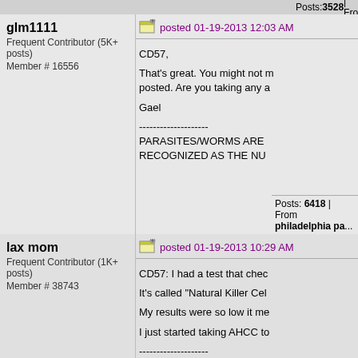Posts: 3528 | From US | Registered...
glm1111
Frequent Contributor (5K+ posts)
Member # 16556
posted 01-19-2013 12:03 AM
CD57,

That's great. You might not m... posted. Are you taking any a...

Gael

--------------------
PARASITES/WORMS ARE RECOGNIZED AS THE NU...
Posts: 6418 | From philadelphia pa...
lax mom
Frequent Contributor (1K+ posts)
Member # 38743
posted 01-19-2013 10:29 AM
CD57: I had a test that chec...

It's called "Natural Killer Cel...

My results were so low it me...

I just started taking AHCC to...

--------------------
♥ ♥ ♥ ♥ ♥
(aperture)